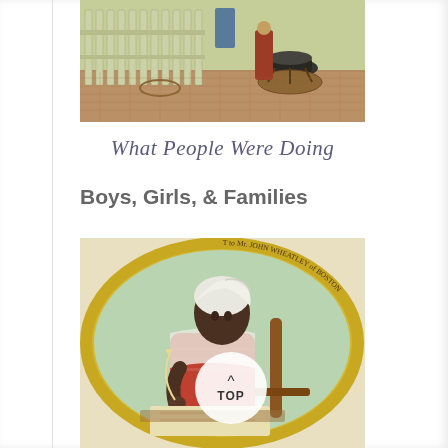[Figure (photo): Outdoor historical scene showing a white picket fence, brick patio with a large black cauldron on a fire pit, and figures in colonial-era dress]
What People Were Doing
Boys, Girls, & Families
[Figure (illustration): Historical portrait illustration of Phillis Wheatley, Negro servant to Mr. John Wheatley of Boston, shown seated and writing with a quill pen, wearing a white head wrap and striped garment, set within an oval yellow-bordered frame with text around the border]